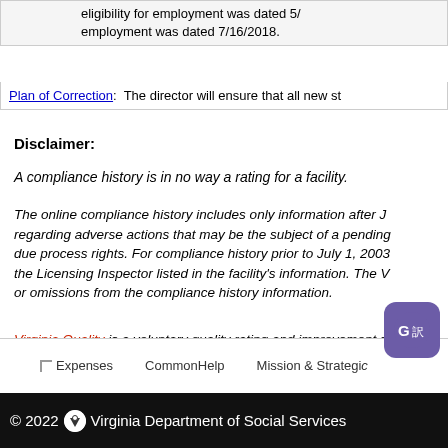eligibility for employment was dated 5/… employment was dated 7/16/2018.
Plan of Correction: The director will ensure that all new st…
Disclaimer:
A compliance history is in no way a rating for a facility.
The online compliance history includes only information after J… regarding adverse actions that may be the subject of a pending… due process rights. For compliance history prior to July 1, 2003… the Licensing Inspector listed in the facility's information. The V… or omissions from the compliance history information.
Virginia Quality is a voluntary quality rating and improvement sy… pre-K. To find programs participating in Virginia Quality, click he…
Expenses   CommonHelp   Mission & Strategi…
© 2022  Virginia Department of Social Services…